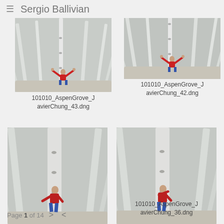≡ Sergio Ballivian
[Figure (photo): Person in red jacket with arms raised among tall white birch/aspen trees, low angle shot]
[Figure (photo): Person in red jacket with arms raised among tall white birch/aspen trees, low angle shot, similar to top-left]
101010_AspenGrove_JavierChung_43.dng
101010_AspenGrove_JavierChung_42.dng
[Figure (photo): Person in red jacket leaning against large white aspen tree trunk, low angle shot]
[Figure (photo): Person in red jacket leaning against large white aspen tree trunk, low angle shot, similar to bottom-left]
101010_AspenGrove_JavierChung_36.dng
Page 1 of 14  >  <